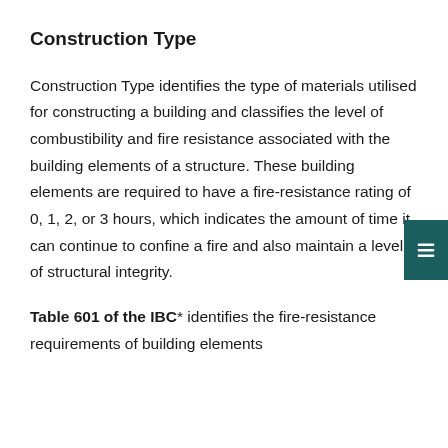Construction Type
Construction Type identifies the type of materials utilised for constructing a building and classifies the level of combustibility and fire resistance associated with the building elements of a structure. These building elements are required to have a fire-resistance rating of 0, 1, 2, or 3 hours, which indicates the amount of time it can continue to confine a fire and also maintain a level of structural integrity.
Table 601 of the IBC* identifies the fire-resistance requirements of building elements